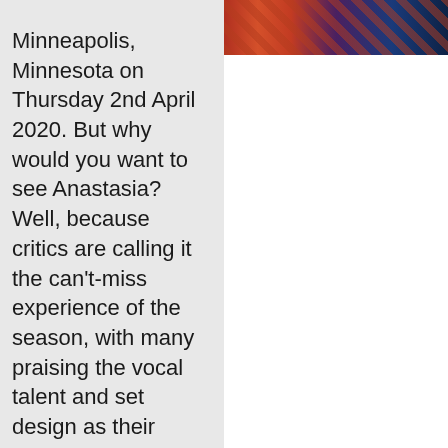[Figure (photo): Photo strip at top right showing colorful theatrical costumes in red, purple, and blue]
Minneapolis, Minnesota on Thursday 2nd April 2020. But why would you want to see Anastasia? Well, because critics are calling it the can't-miss experience of the season, with many praising the vocal talent and set design as their favorite parts. The show has been called magical, unsurpassed, and unrivalled, so if you love musical theatre, you can't afford to miss out. Fans are already flooding the box office to get